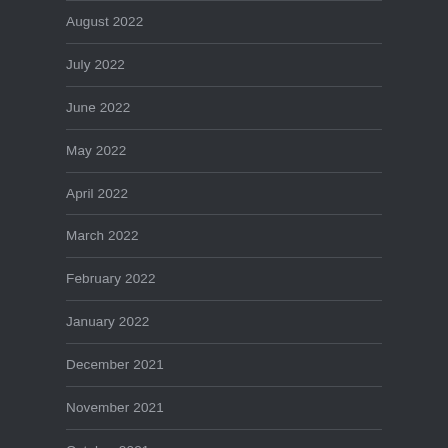August 2022
July 2022
June 2022
May 2022
April 2022
March 2022
February 2022
January 2022
December 2021
November 2021
October 2021